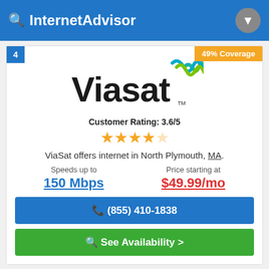InternetAdvisor
4
49% Coverage
[Figure (logo): Viasat logo with stylized wave icon]
Customer Rating: 3.6/5
ViaSat offers internet in North Plymouth, MA.
Speeds up to
150 Mbps
Price starting at
$49.99/mo
(855) 410-1838
See Availability >
5